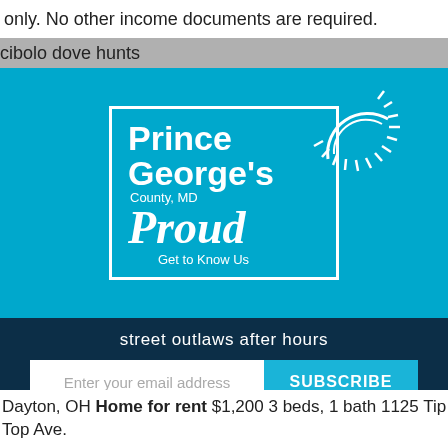only. No other income documents are required.
cibolo dove hunts
[Figure (logo): Prince George's County MD Proud - Get to Know Us logo on teal/cyan background with decorative sun graphic]
street outlaws after hours
Enter your email address  SUBSCRIBE
No Thanks    Remind Me Later
Dayton, OH Home for rent $1,200 3 beds, 1 bath 1125 Tip Top Ave.
Landlord Rental Application   Tenant Rental Applicati...